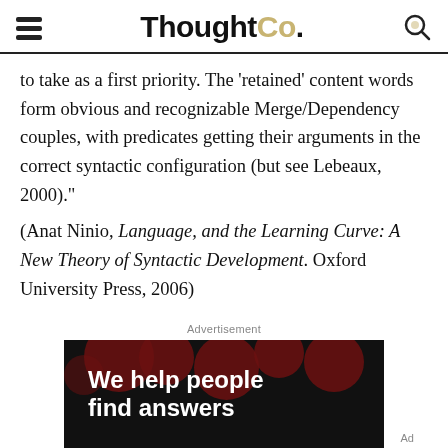ThoughtCo.
to take as a first priority. The 'retained' content words form obvious and recognizable Merge/Dependency couples, with predicates getting their arguments in the correct syntactic configuration (but see Lebeaux, 2000)."
(Anat Ninio, Language, and the Learning Curve: A New Theory of Syntactic Development. Oxford University Press, 2006)
Advertisement
[Figure (other): Advertisement banner with dark background, dark red polka dots, and white bold text reading 'We help people find answers']